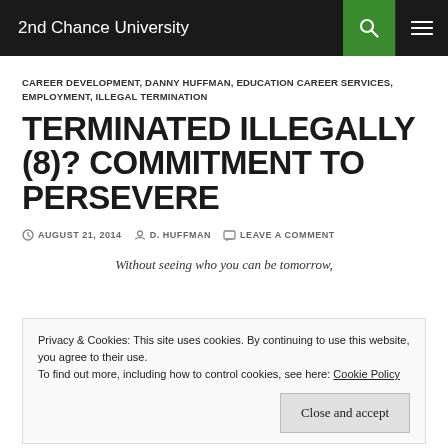2nd Chance University
CAREER DEVELOPMENT, DANNY HUFFMAN, EDUCATION CAREER SERVICES, EMPLOYMENT, ILLEGAL TERMINATION
TERMINATED ILLEGALLY (8)? COMMITMENT TO PERSEVERE
AUGUST 21, 2014  D. HUFFMAN  LEAVE A COMMENT
Without seeing who you can be tomorrow,
Privacy & Cookies: This site uses cookies. By continuing to use this website, you agree to their use.
To find out more, including how to control cookies, see here: Cookie Policy
last month. I've reached out several times to him over the